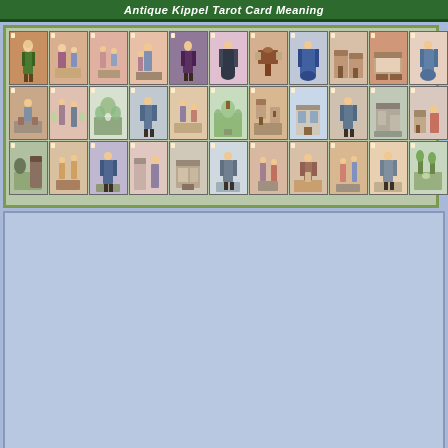Antique Kippel Tarot Card Meaning
[Figure (photo): Grid of 36 antique Kippel tarot cards arranged in 3 rows of 12 cards each, showing illustrated scenes with people, buildings, and landscapes in vintage colorized style]